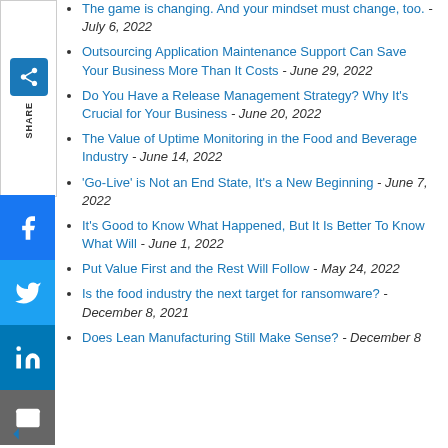The game is changing. And your mindset must change, too. - July 6, 2022
Outsourcing Application Maintenance Support Can Save Your Business More Than It Costs - June 29, 2022
Do You Have a Release Management Strategy? Why It's Crucial for Your Business - June 20, 2022
The Value of Uptime Monitoring in the Food and Beverage Industry - June 14, 2022
'Go-Live' is Not an End State, It's a New Beginning - June 7, 2022
It's Good to Know What Happened, But It Is Better To Know What Will - June 1, 2022
Put Value First and the Rest Will Follow - May 24, 2022
Is the food industry the next target for ransomware? - December 8, 2021
Does Lean Manufacturing Still Make Sense? - December 8